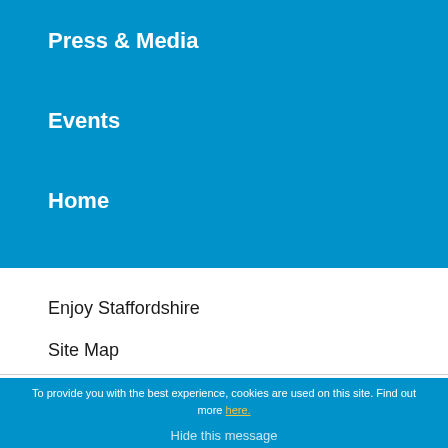Press & Media
Events
Home
Enjoy Staffordshire
Site Map
To provide you with the best experience, cookies are used on this site. Find out more here.
Hide this message